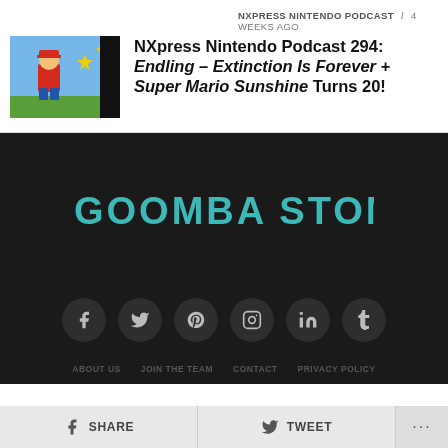[Figure (photo): Thumbnail image of Super Mario Sunshine promotional art showing Mario jumping with colorful stars]
NXPRESS NINTENDO PODCAST / 4 weeks ago
NXpress Nintendo Podcast 294: Endling – Extinction Is Forever + Super Mario Sunshine Turns 20!
[Figure (logo): Goomba Stomp logo in teal/cyan text on dark background]
[Figure (infographic): Social media icons row: Facebook, Twitter, Pinterest, Instagram, LinkedIn, Tumblr — circular dark buttons]
ABOUT US   JOIN THE TEAM   CONTACT   PRIVACY POLICY
SHARE   TWEET   ···